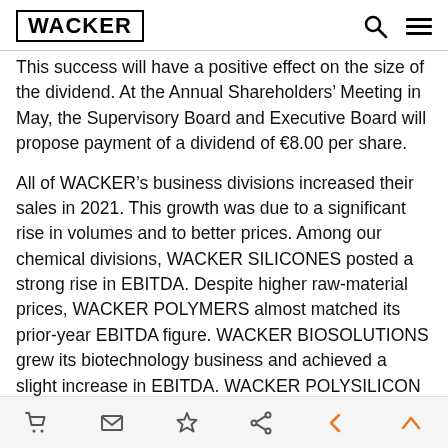WACKER
This success will have a positive effect on the size of the dividend. At the Annual Shareholders' Meeting in May, the Supervisory Board and Executive Board will propose payment of a dividend of €8.00 per share.
All of WACKER's business divisions increased their sales in 2021. This growth was due to a significant rise in volumes and to better prices. Among our chemical divisions, WACKER SILICONES posted a strong rise in EBITDA. Despite higher raw-material prices, WACKER POLYMERS almost matched its prior-year EBITDA figure. WACKER BIOSOLUTIONS grew its biotechnology business and achieved a slight increase in EBITDA. WACKER POLYSILICON also performed exceptionally well. Sales and earnings surged due to volume growth for solar and semiconductor applications, substantially higher prices for solar-grade silicon, and improvements in the
navigation icons: cart, mail, star, share, back arrow, up arrow